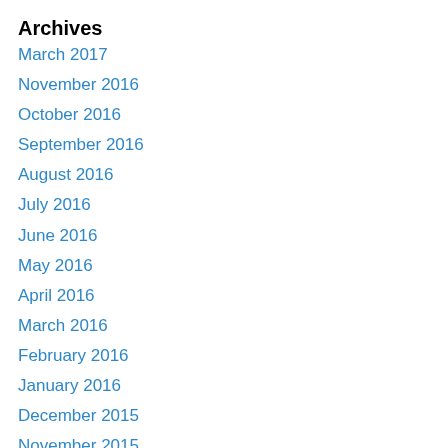Archives
March 2017
November 2016
October 2016
September 2016
August 2016
July 2016
June 2016
May 2016
April 2016
March 2016
February 2016
January 2016
December 2015
November 2015
October 2015
September 2015
August 2015
July 2015